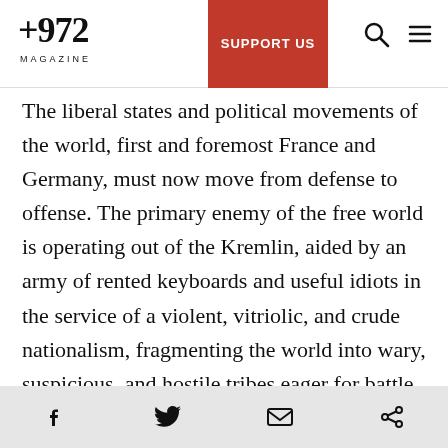+972 MAGAZINE | SUPPORT US
The liberal states and political movements of the world, first and foremost France and Germany, must now move from defense to offense. The primary enemy of the free world is operating out of the Kremlin, aided by an army of rented keyboards and useful idiots in the service of a violent, vitriolic, and crude nationalism, fragmenting the world into wary, suspicious, and hostile tribes eager for battle.
It is reasonable to assume the French president-elect understands the picture quite well: the antics pulled just a day before the election, the same
Social share icons: Facebook, Twitter, Email, Link